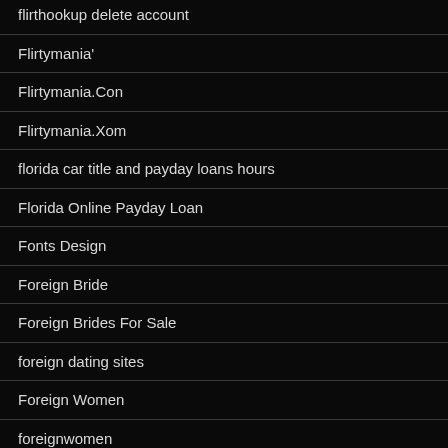flirthookup delete account
Flirtymania'
Flirtymania.Con
Flirtymania.Xom
florida car title and payday loans hours
Florida Online Payday Loan
Fonts Design
Foreign Bride
Foreign Brides For Sale
foreign dating sites
Foreign Women
foreignwomen
Forex